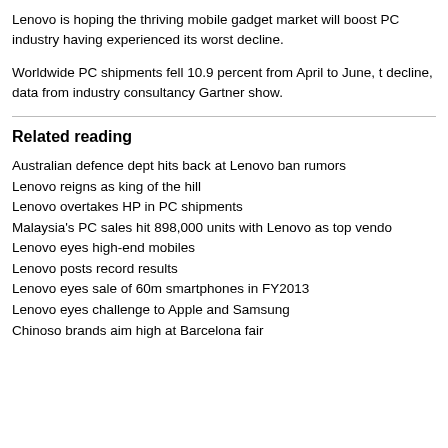Lenovo is hoping the thriving mobile gadget market will boost PC industry having experienced its worst decline.
Worldwide PC shipments fell 10.9 percent from April to June, t decline, data from industry consultancy Gartner show.
Related reading
Australian defence dept hits back at Lenovo ban rumors
Lenovo reigns as king of the hill
Lenovo overtakes HP in PC shipments
Malaysia's PC sales hit 898,000 units with Lenovo as top vendo
Lenovo eyes high-end mobiles
Lenovo posts record results
Lenovo eyes sale of 60m smartphones in FY2013
Lenovo eyes challenge to Apple and Samsung
Chinoso brands aim high at Barcelona fair